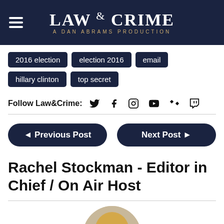LAW & CRIME — A DAN ABRAMS PRODUCTION
2016 election
election 2016
email
hillary clinton
top secret
Follow Law&Crime:
◄ Previous Post   Next Post ►
Rachel Stockman - Editor in Chief / On Air Host
[Figure (photo): Circular headshot photo of Rachel Stockman, a woman with long blonde hair, smiling, against a neutral background.]